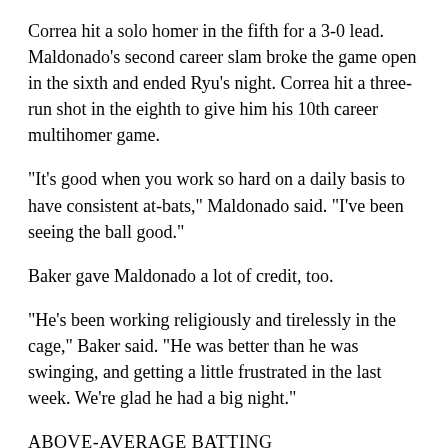Correa hit a solo homer in the fifth for a 3-0 lead. Maldonado's second career slam broke the game open in the sixth and ended Ryu's night. Correa hit a three-run shot in the eighth to give him his 10th career multihomer game.
"It's good when you work so hard on a daily basis to have consistent at-bats," Maldonado said. "I've been seeing the ball good."
Baker gave Maldonado a lot of credit, too.
"He's been working religiously and tirelessly in the cage," Baker said. "He was better than he was swinging, and getting a little frustrated in the last week. We're glad he had a big night."
ABOVE-AVERAGE BATTING
Entering Friday's game, seven qualifying players had a batting average of .300 or better in the American League, and five of them were Astros or Blue Jays.
Toronto's Vladimir Guerrero Jr. led with a .335 average and teammate Marcus Semien was seventh with a .301 mark.
Representing the Astros, Yuli Gurriel ranked fourth at .310 with